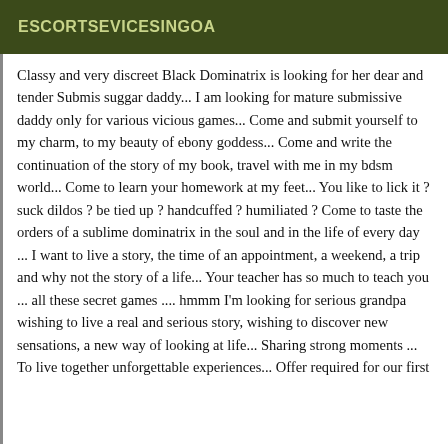ESCORTSEVICESINGOA
Classy and very discreet Black Dominatrix is looking for her dear and tender Submis suggar daddy... I am looking for mature submissive daddy only for various vicious games... Come and submit yourself to my charm, to my beauty of ebony goddess... Come and write the continuation of the story of my book, travel with me in my bdsm world... Come to learn your homework at my feet... You like to lick it ? suck dildos ? be tied up ? handcuffed ? humiliated ? Come to taste the orders of a sublime dominatrix in the soul and in the life of every day ... I want to live a story, the time of an appointment, a weekend, a trip and why not the story of a life... Your teacher has so much to teach you ... all these secret games .... hmmm I'm looking for serious grandpa wishing to live a real and serious story, wishing to discover new sensations, a new way of looking at life... Sharing strong moments ... To live together unforgettable experiences... Offer required for our first